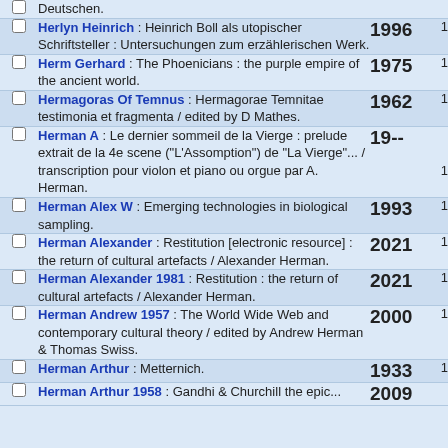Deutschen.
Herlyn Heinrich : Heinrich Boll als utopischer Schriftsteller : Untersuchungen zum erzählerischen Werk. 1996 1
Herm Gerhard : The Phoenicians : the purple empire of the ancient world. 1975 1
Hermagoras Of Temnus : Hermagorae Temnitae testimonia et fragmenta / edited by D Mathes. 1962 1
Herman A : Le dernier sommeil de la Vierge : prelude extrait de la 4e scene ("L'Assomption") de "La Vierge"... / transcription pour violon et piano ou orgue par A. Herman. 19-- 1
Herman Alex W : Emerging technologies in biological sampling. 1993 1
Herman Alexander : Restitution [electronic resource] : the return of cultural artefacts / Alexander Herman. 2021 1
Herman Alexander 1981 : Restitution : the return of cultural artefacts / Alexander Herman. 2021 1
Herman Andrew 1957 : The World Wide Web and contemporary cultural theory / edited by Andrew Herman & Thomas Swiss. 2000 1
Herman Arthur : Metternich. 1933 1
Herman Arthur 1958 : Gandhi & Churchill the epic... 2009